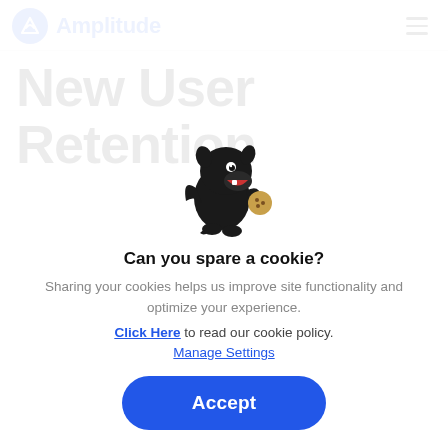Amplitude
New User Retention
[Figure (illustration): A cartoon black dragon/dinosaur creature holding a cookie]
Can you spare a cookie?
Sharing your cookies helps us improve site functionality and optimize your experience.
Click Here to read our cookie policy.
Manage Settings
Accept